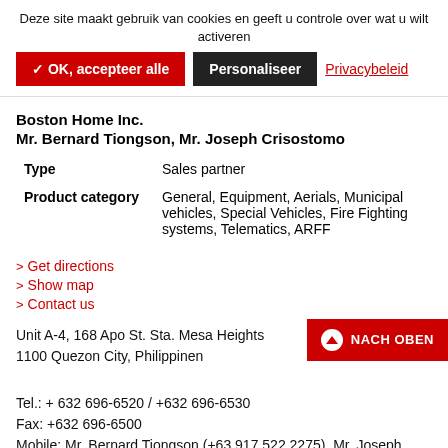Deze site maakt gebruik van cookies en geeft u controle over wat u wilt activeren
✓ OK, accepteer alle   Personaliseer   Privacybeleid
Boston Home Inc.
Mr. Bernard Tiongson, Mr. Joseph Crisostomo
| Type | Sales partner |
| Product category | General, Equipment, Aerials, Municipal vehicles, Special Vehicles, Fire Fighting systems, Telematics, ARFF |
Get directions
Show map
Contact us
Unit A-4, 168 Apo St. Sta. Mesa Heights
1100 Quezon City, Philippinen
Tel.: + 632 696-6520 / +632 696-6530
Fax: +632 696-6500
Mobile: Mr. Bernard Tiongson (+63 917 522 2275), Mr. Joseph Crisostomo (+63 906 356 2412)